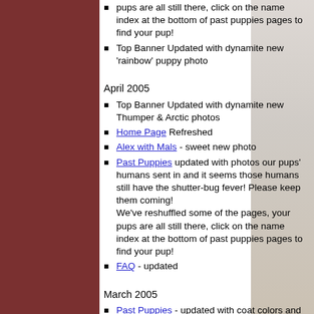pups are all still there, click on the name index at the bottom of past puppies pages to find your pup!
Top Banner Updated with dynamite new 'rainbow' puppy photo
April 2005
Top Banner Updated with dynamite new Thumper & Arctic photos
Home Page Refreshed
Alex with Mals - sweet new photo
Past Puppies updated with photos our pups' humans sent in and it seems those humans still have the shutter-bug fever! Please keep them coming! We've reshuffled some of the pages, your pups are all still there, click on the name index at the bottom of past puppies pages to find your pup!
FAQ - updated
March 2005
Past Puppies - updated with coat colors and markings from the official color chart shown on About Malamutes
About Malamutes - updated with additional information
Malamute Links - updated with additional activities (including agility) and information links